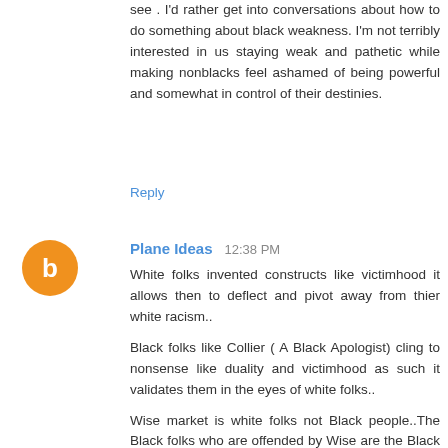see . I'd rather get into conversations about how to do something about black weakness. I'm not terribly interested in us staying weak and pathetic while making nonblacks feel ashamed of being powerful and somewhat in control of their destinies.
Reply
Plane Ideas   12:38 PM
White folks invented constructs like victimhood it allows then to deflect and pivot away from thier white racism..
Black folks like Collier ( A Black Apologist) cling to nonsense like duality and victimhood as such it validates them in the eyes of white folks..
Wise market is white folks not Black people..The Black folks who are offended by Wise are the Black wounded types like Collier who resent attacks on white folks Black apologists curry white folks for affirmation Wise gets in the way..